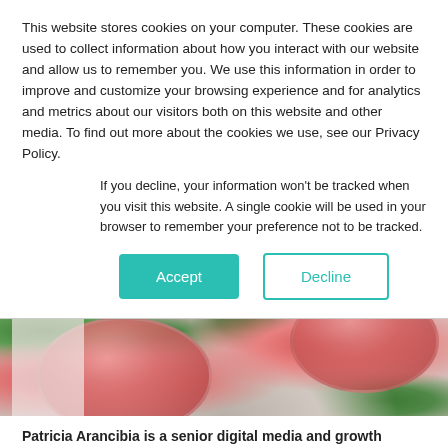This website stores cookies on your computer. These cookies are used to collect information about how you interact with our website and allow us to remember you. We use this information in order to improve and customize your browsing experience and for analytics and metrics about our visitors both on this website and other media. To find out more about the cookies we use, see our Privacy Policy.
If you decline, your information won't be tracked when you visit this website. A single cookie will be used in your browser to remember your preference not to be tracked.
Accept
Decline
[Figure (photo): Overhead view of two pink/red drinks with mint leaves and ice, on a light textured surface]
Patricia Arancibia is a senior digital media and growth